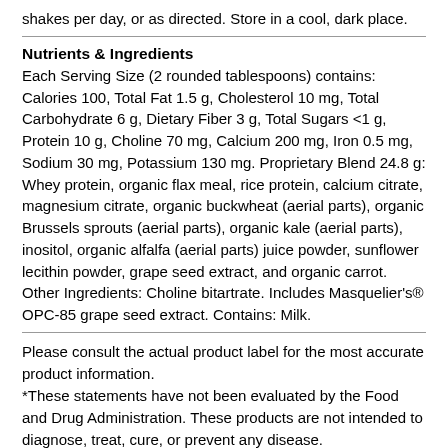shakes per day, or as directed. Store in a cool, dark place.
Nutrients & Ingredients
Each Serving Size (2 rounded tablespoons) contains: Calories 100, Total Fat 1.5 g, Cholesterol 10 mg, Total Carbohydrate 6 g, Dietary Fiber 3 g, Total Sugars <1 g, Protein 10 g, Choline 70 mg, Calcium 200 mg, Iron 0.5 mg, Sodium 30 mg, Potassium 130 mg. Proprietary Blend 24.8 g: Whey protein, organic flax meal, rice protein, calcium citrate, magnesium citrate, organic buckwheat (aerial parts), organic Brussels sprouts (aerial parts), organic kale (aerial parts), inositol, organic alfalfa (aerial parts) juice powder, sunflower lecithin powder, grape seed extract, and organic carrot. Other Ingredients: Choline bitartrate. Includes Masquelier's® OPC-85 grape seed extract. Contains: Milk.
Please consult the actual product label for the most accurate product information.
*These statements have not been evaluated by the Food and Drug Administration. These products are not intended to diagnose, treat, cure, or prevent any disease.